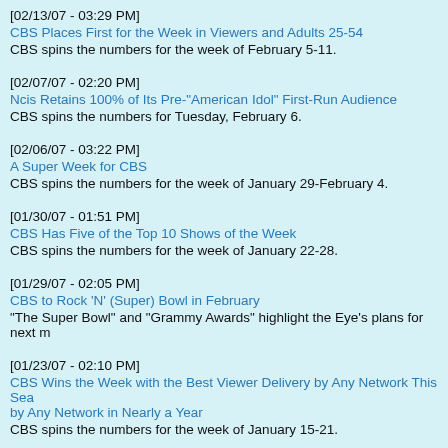[02/13/07 - 03:29 PM]
CBS Places First for the Week in Viewers and Adults 25-54
CBS spins the numbers for the week of February 5-11.
[02/07/07 - 02:20 PM]
Ncis Retains 100% of Its Pre-"American Idol" First-Run Audience
CBS spins the numbers for Tuesday, February 6.
[02/06/07 - 03:22 PM]
A Super Week for CBS
CBS spins the numbers for the week of January 29-February 4.
[01/30/07 - 01:51 PM]
CBS Has Five of the Top 10 Shows of the Week
CBS spins the numbers for the week of January 22-28.
[01/29/07 - 02:05 PM]
CBS to Rock 'N' (Super) Bowl in February
"The Super Bowl" and "Grammy Awards" highlight the Eye's plans for next m
[01/23/07 - 02:10 PM]
CBS Wins the Week with the Best Viewer Delivery by Any Network This Sea... by Any Network in Nearly a Year
CBS spins the numbers for the week of January 15-21.
[01/17/07 - 01:20 PM]
CBS Moves Into Sole Possession of First Place in Adults 18-49 at Season's
CBS spins the numbers for the week of [...] January 8-14.